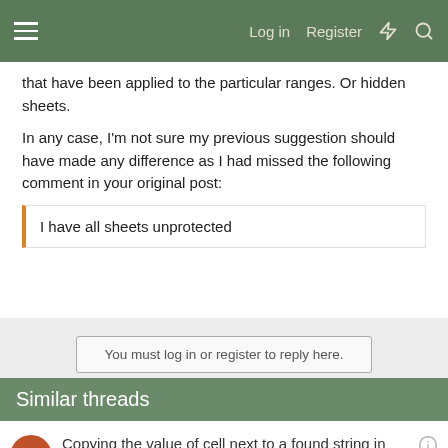Log in  Register
that have been applied to the particular ranges. Or hidden sheets.
In any case, I'm not sure my previous suggestion should have made any difference as I had missed the following comment in your original post:
I have all sheets unprotected
You must log in or register to reply here.
Similar threads
Copying the value of cell next to a found string in multiple workbooks and pasting it into a new workbook
frostedzeo · Excel Questions
Replies: 2 · Aug 9, 2022